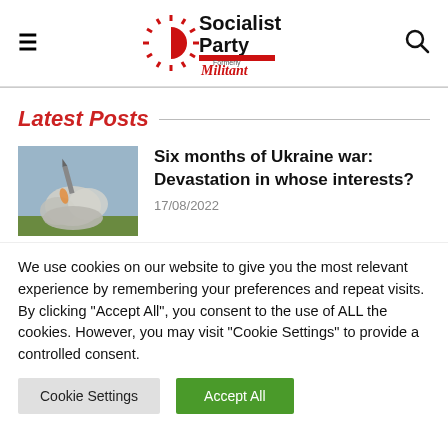Socialist Party — Formerly Militant (logo, hamburger menu, search icon)
Latest Posts
[Figure (photo): Military missile launch with explosion and smoke clouds in a field]
Six months of Ukraine war: Devastation in whose interests?
17/08/2022
We use cookies on our website to give you the most relevant experience by remembering your preferences and repeat visits. By clicking "Accept All", you consent to the use of ALL the cookies. However, you may visit "Cookie Settings" to provide a controlled consent.